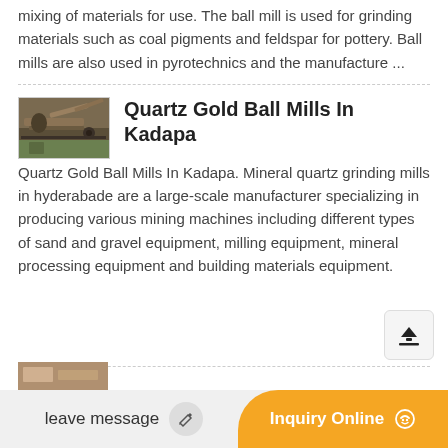mixing of materials for use. The ball mill is used for grinding materials such as coal pigments and feldspar for pottery. Ball mills are also used in pyrotechnics and the manufacture ...
Quartz Gold Ball Mills In Kadapa
[Figure (photo): Thumbnail photo of mining equipment / ball mill machinery at an outdoor site]
Quartz Gold Ball Mills In Kadapa. Mineral quartz grinding mills in hyderabade are a large-scale manufacturer specializing in producing various mining machines including different types of sand and gravel equipment, milling equipment, mineral processing equipment and building materials equipment.
leave message
Inquiry Online